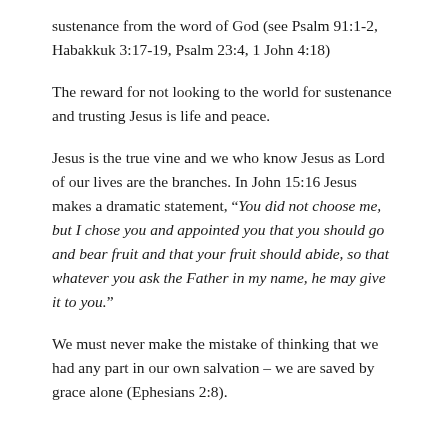sustenance from the word of God (see Psalm 91:1-2, Habakkuk 3:17-19, Psalm 23:4, 1 John 4:18)
The reward for not looking to the world for sustenance and trusting Jesus is life and peace.
Jesus is the true vine and we who know Jesus as Lord of our lives are the branches. In John 15:16 Jesus makes a dramatic statement, “You did not choose me, but I chose you and appointed you that you should go and bear fruit and that your fruit should abide, so that whatever you ask the Father in my name, he may give it to you.”
We must never make the mistake of thinking that we had any part in our own salvation – we are saved by grace alone (Ephesians 2:8).